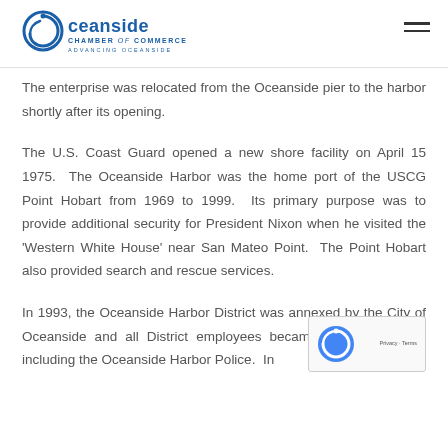Oceanside Chamber of Commerce – Advancing Oceanside
The enterprise was relocated from the Oceanside pier to the harbor shortly after its opening.
The U.S. Coast Guard opened a new shore facility on April 15 1975.  The Oceanside Harbor was the home port of the USCG Point Hobart from 1969 to 1999.  Its primary purpose was to provide additional security for President Nixon when he visited the 'Western White House' near San Mateo Point.  The Point Hobart also provided search and rescue services.
In 1993, the Oceanside Harbor District was annexed by the City of Oceanside and all District employees became City employees, including the Oceanside Harbor Police.  In